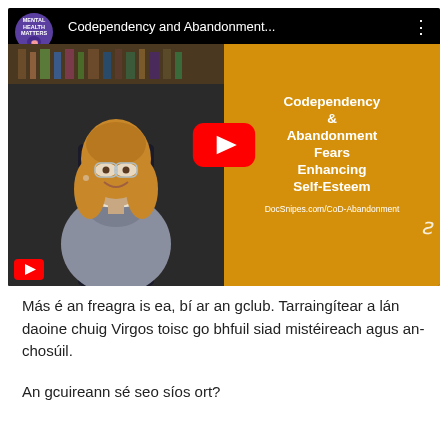[Figure (screenshot): YouTube video thumbnail showing a woman in a grey turtleneck sweater in front of bookshelves on the left, and an orange panel on the right with bold white text reading 'Codependency & Abandonment Fears Enhancing Self-Esteem' and 'DocSnipes.com/CoD-Abandonment'. A red YouTube play button is centered over the image. The top bar shows 'Mental Health Matters' badge and the title 'Codependency and Abandonment...']
Más é an freagra is ea, bí ar an gclub. Tarraingítear a lán daoine chuig Virgos toisc go bhfuil siad mistéireach agus an-chosúil.
An gcuireann sé seo síos ort?